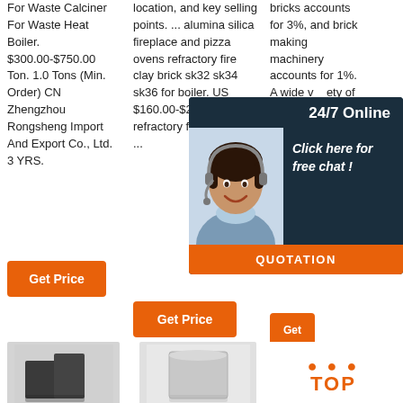For Waste Calciner For Waste Heat Boiler. $300.00-$750.00 Ton. 1.0 Tons (Min. Order) CN Zhengzhou Rongsheng Import And Export Co., Ltd. 3 YRS.
location, and key selling points. ... alumina silica fireplace and pizza ovens refractory fire clay brick sk32 sk34 sk36 for boiler. US $160.00-$200 ... china refractory fire china k.a ...
bricks accounts for 3%, and brick making machinery accounts for 1%. A wide variety of refractory fire brick options are available to you, such as shape, design and top brand for pro...
[Figure (screenshot): 24/7 Online chat widget with agent photo, 'Click here for free chat!' text, and orange QUOTATION button]
[Figure (photo): Dark grey refractory fire bricks]
[Figure (photo): Light grey refractory fire brick block]
[Figure (logo): TOP logo with orange dots and text]